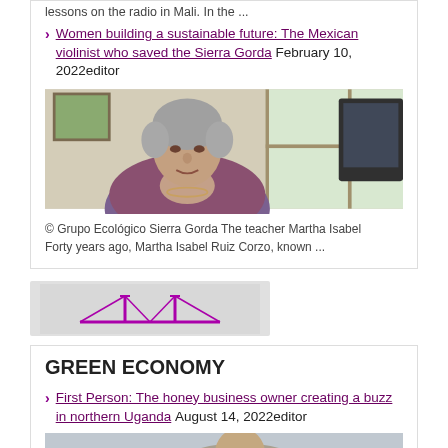lessons on the radio in Mali. In the ...
Women building a sustainable future: The Mexican violinist who saved the Sierra Gorda February 10, 2022editor
[Figure (photo): Portrait photo of an older woman with grey hair, wearing a purple/maroon shawl, seated indoors near a window]
© Grupo Ecológico Sierra Gorda The teacher Martha Isabel Forty years ago, Martha Isabel Ruiz Corzo, known ...
[Figure (logo): Logo with a bridge/arch shape in magenta/purple on a grey background]
GREEN ECONOMY
First Person: The honey business owner creating a buzz in northern Uganda August 14, 2022editor
[Figure (photo): Partial photo visible at bottom of page, appears to be a person]